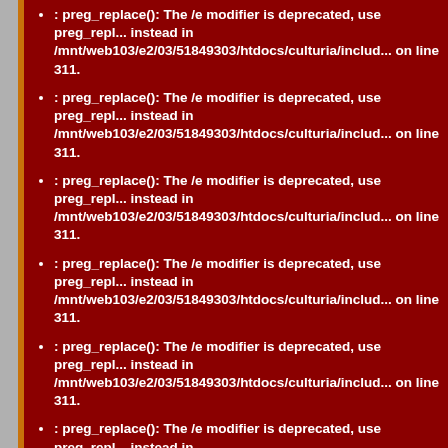: preg_replace(): The /e modifier is deprecated, use preg_replace_e instead in /mnt/web103/e2/03/51849303/htdocs/culturia/includes/... on line 311.
: preg_replace(): The /e modifier is deprecated, use preg_replace_e instead in /mnt/web103/e2/03/51849303/htdocs/culturia/includes/... on line 311.
: preg_replace(): The /e modifier is deprecated, use preg_replace_e instead in /mnt/web103/e2/03/51849303/htdocs/culturia/includes/... on line 311.
: preg_replace(): The /e modifier is deprecated, use preg_replace_e instead in /mnt/web103/e2/03/51849303/htdocs/culturia/includes/... on line 311.
: preg_replace(): The /e modifier is deprecated, use preg_replace_e instead in /mnt/web103/e2/03/51849303/htdocs/culturia/includes/... on line 311.
: preg_replace(): The /e modifier is deprecated, use preg_replace_e instead in /mnt/web103/e2/03/51849303/htdocs/culturia/includes/... on line 311.
: preg_replace(): The /e modifier is deprecated, use preg_replace_e instead in /mnt/web103/e2/03/51849303/htdocs/culturia/includes/... on line 311.
: preg_replace(): The /e modifier is deprecated, use preg_replace_e instead in /mnt/web103/e2/03/51849303/htdocs/culturia/includes/...